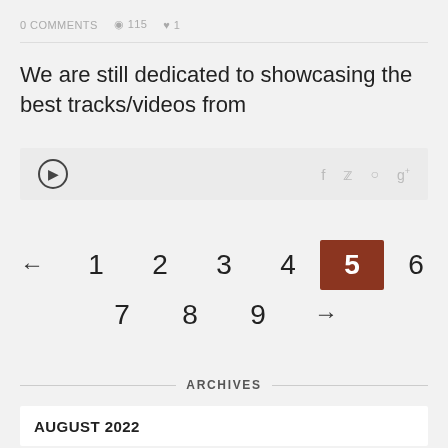0 COMMENTS  115  1
We are still dedicated to showcasing the best tracks/videos from
ARCHIVES
AUGUST 2022